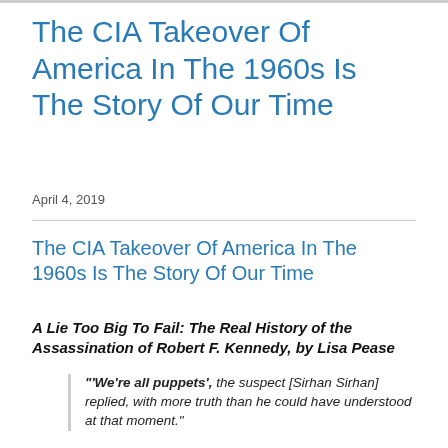The CIA Takeover Of America In The 1960s Is The Story Of Our Time
April 4, 2019
The CIA Takeover Of America In The 1960s Is The Story Of Our Time
A Lie Too Big To Fail: The Real History of the Assassination of Robert F. Kennedy, by Lisa Pease
"'We're all puppets', the suspect [Sirhan Sirhan] replied, with more truth than he could have understood at that moment."